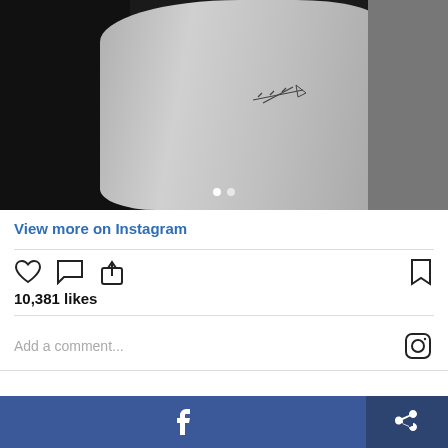[Figure (photo): Instagram post photo showing a close-up of a barbed-wire bicep tattoo on an arm, black and white/grayscale image with navigation dots at the bottom]
View more on Instagram
[Figure (infographic): Instagram UI elements: heart icon, comment icon, share icon on the left; bookmark icon on the right; 10,381 likes; Add a comment... field with Instagram logo]
10,381 likes
Add a comment...
Bridgers's barbed-wire bicep tattoo – which often represents strength, resilience, and courage – was added to her collection in May 2022. She visited Dr. Woo for the minimal design.
[Figure (infographic): Bottom bar with Facebook share button (blue) and a general share button (dark blue)]